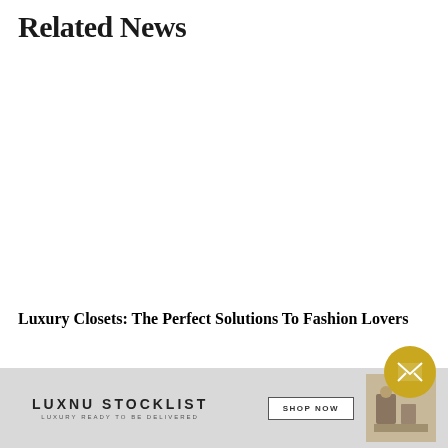Related News
Luxury Closets: The Perfect Solutions To Fashion Lovers
[Figure (logo): LUXNU STOCKLIST banner advertisement with logo, 'LUXURY READY TO BE DELIVERED' tagline, SHOP NOW button, and decorative product image]
[Figure (other): Circular yellow envelope/email button in bottom right corner]